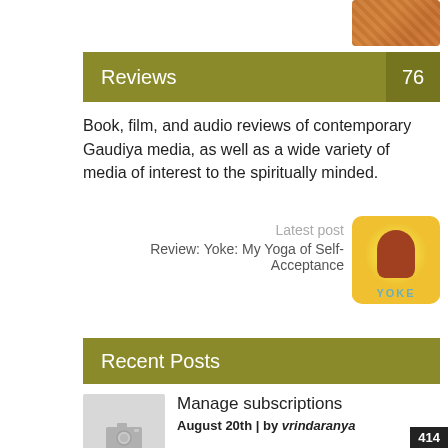[Figure (photo): Partial book cover image visible at top right corner]
Reviews 76
Book, film, and audio reviews of contemporary Gaudiya media, as well as a wide variety of media of interest to the spiritually minded.
Latest post
Review: Yoke: My Yoga of Self-Acceptance
[Figure (photo): Book cover for Yoke: My Yoga of Self-Acceptance, showing a person in yoga pose with yellow sun background and text YOKE at bottom]
Recent Posts
[Figure (photo): Grey placeholder thumbnail with camera icon]
Manage subscriptions
August 20th | by vrindaranya
Half the Way Home
414